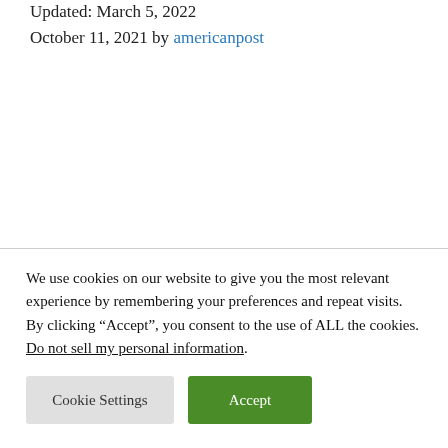Updated: March 5, 2022
October 11, 2021 by americanpost
We use cookies on our website to give you the most relevant experience by remembering your preferences and repeat visits. By clicking “Accept”, you consent to the use of ALL the cookies.
Do not sell my personal information.
Cookie Settings | Accept